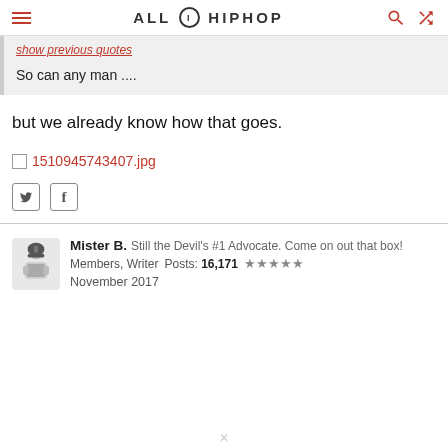ALLHIPHOP
show previous quotes
So can any man ....
but we already know how that goes.
[Figure (other): Broken image placeholder link reading 1510945743407.jpg in red text]
Twitter and Facebook share icons
Mister B.  Still the Devil's #1 Advocate. Come on out that box!
Members, Writer  Posts: 16,171  ★★★★★
November 2017